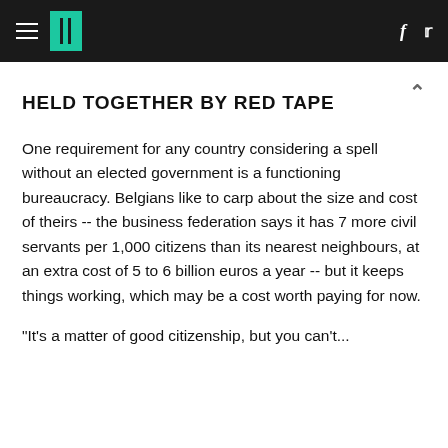HuffPost navigation header with hamburger menu, logo, Facebook and Twitter icons
HELD TOGETHER BY RED TAPE
One requirement for any country considering a spell without an elected government is a functioning bureaucracy. Belgians like to carp about the size and cost of theirs -- the business federation says it has 7 more civil servants per 1,000 citizens than its nearest neighbours, at an extra cost of 5 to 6 billion euros a year -- but it keeps things working, which may be a cost worth paying for now.
"It’s a matter of good citizenship, but you can’t...